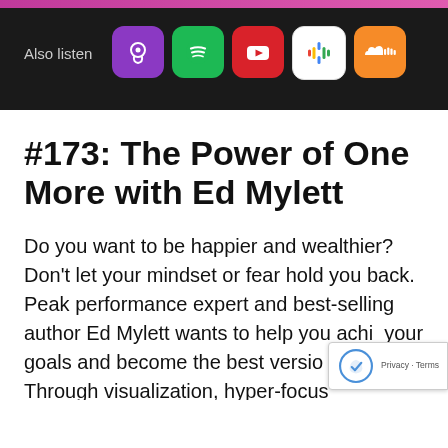Also listen
[Figure (infographic): Row of podcast platform icons: Apple Podcasts (purple), Spotify (green), YouTube (red), Google Podcasts (white), SoundCloud (orange)]
#173: The Power of One More with Ed Mylett
Do you want to be happier and wealthier? Don't let your mindset or fear hold you back. Peak performance expert and best-selling author Ed Mylett wants to help you achieve your goals and become the best version of yourself. Through visualization, hyper-focus